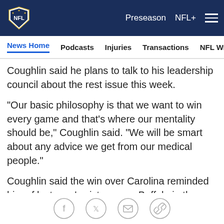NFL — Preseason | NFL+
News Home | Podcasts | Injuries | Transactions | NFL Writers | Se
Coughlin said he plans to talk to his leadership council about the rest issue this week.
"Our basic philosophy is that we want to win every game and that's where our mentality should be," Coughlin said. "We will be smart about any advice we get from our medical people."
Coughlin said the win over Carolina reminded him of last year's victory over Buffalo in the next to last game last season. New York needed to win that game to qualify for the playoffs, but the prospects appeared to